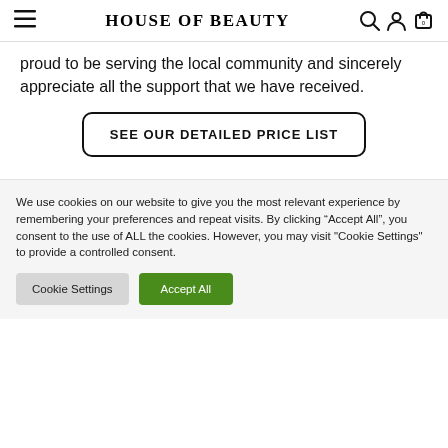HOUSE OF BEAUTY
proud to be serving the local community and sincerely appreciate all the support that we have received.
SEE OUR DETAILED PRICE LIST
We use cookies on our website to give you the most relevant experience by remembering your preferences and repeat visits. By clicking “Accept All”, you consent to the use of ALL the cookies. However, you may visit "Cookie Settings" to provide a controlled consent.
Cookie Settings
Accept All